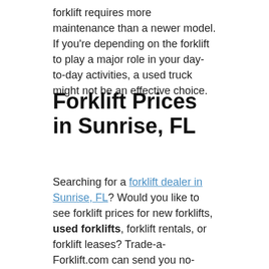forklift requires more maintenance than a newer model. If you're depending on the forklift to play a major role in your day-to-day activities, a used truck might not be an effective choice.
Forklift Prices in Sunrise, FL
Searching for a forklift dealer in Sunrise, FL? Would you like to see forklift prices for new forklifts, used forklifts, forklift rentals, or forklift leases? Trade-a-Forklift.com can send you no-obligation lift truck prices right away. Take just a moment to submit our free fork lift request form, and we'll email you prices right away.
Forklift For Sale in Sunrise, FL